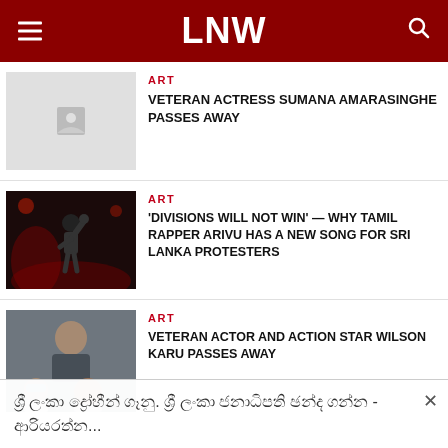LNW
ART
VETERAN ACTRESS SUMANA AMARASINGHE PASSES AWAY
ART
'DIVISIONS WILL NOT WIN' — WHY TAMIL RAPPER ARIVU HAS A NEW SONG FOR SRI LANKA PROTESTERS
ART
VETERAN ACTOR AND ACTION STAR WILSON KARU PASSES AWAY
ශ්‍රී ලංකා ද්‍රෝහීන් ගෑනු. ශ්‍රී ලංකා ජනාධිපති ඡන්ද ගන්න - ආරියරත්න...